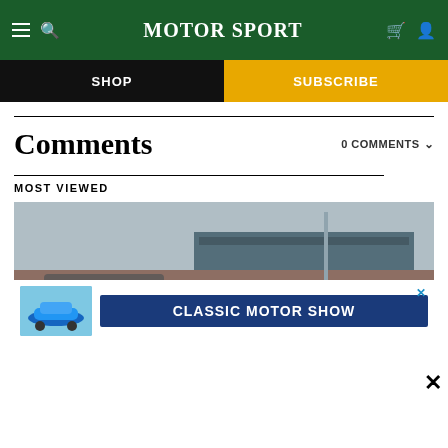MotorSport
SHOP
SUBSCRIBE
Comments
0 COMMENTS
MOST VIEWED
[Figure (photo): Racing car event at a circuit with crowds in the background, blurred motion shot]
[Figure (photo): Classic Motor Show advertisement banner featuring a blue Porsche 911 and text CLASSIC MOTOR SHOW on dark blue background]